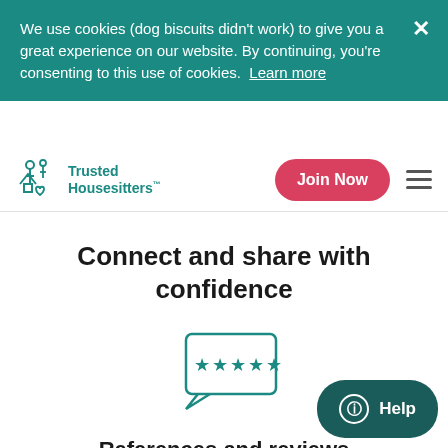We use cookies (dog biscuits didn't work) to give you a great experience on our website. By continuing, you're consenting to this use of cookies. Learn more
[Figure (logo): Trusted Housesitters logo with icon of two people and a house]
Join Now
Connect and share with confidence
[Figure (illustration): Teal speech bubble icon with five stars inside representing reviews]
References and reviews
How do you choose from the pet sitters that
Help